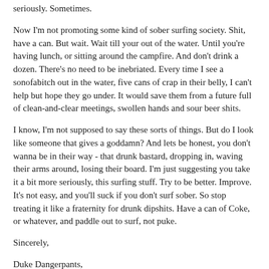seriously. Sometimes.
Now I'm not promoting some kind of sober surfing society. Shit, have a can. But wait. Wait till your out of the water. Until you're having lunch, or sitting around the campfire. And don't drink a dozen. There's no need to be inebriated. Every time I see a sonofabitch out in the water, five cans of crap in their belly, I can't help but hope they go under. It would save them from a future full of clean-and-clear meetings, swollen hands and sour beer shits.
I know, I'm not supposed to say these sorts of things. But do I look like someone that gives a goddamn? And lets be honest, you don't wanna be in their way - that drunk bastard, dropping in, waving their arms around, losing their board. I'm just suggesting you take it a bit more seriously, this surfing stuff. Try to be better. Improve. It's not easy, and you'll suck if you don't surf sober. So stop treating it like a fraternity for drunk dipshits. Have a can of Coke, or whatever, and paddle out to surf, not puke.
Sincerely,
Duke Dangerpants,